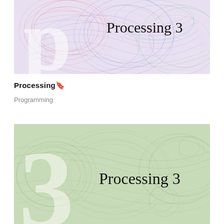[Figure (illustration): Book cover for 'Processing 3' showing colorful swirling line art patterns in pink, purple, blue, green with a large stylized 'p' letter and the text 'Processing 3' in serif font on the right side]
Processing🔖
Programming
[Figure (illustration): Book cover for 'Processing 3' in monochromatic green tones showing swirling circular patterns with a large stylized '3' number and the text 'Processing 3' in serif font on the right side]